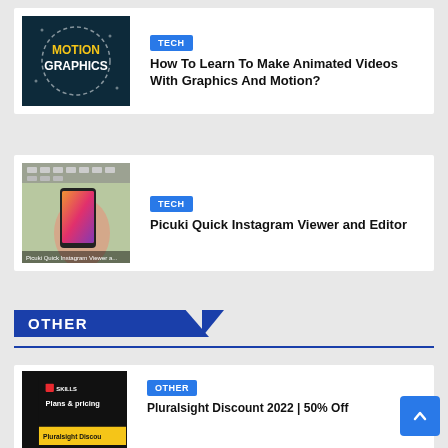[Figure (screenshot): Motion Graphics thumbnail - dark teal background with 'MOTION GRAPHICS' text in yellow/white chalk style]
TECH
How To Learn To Make Animated Videos With Graphics And Motion?
[Figure (photo): Hand holding a smartphone with Instagram app open, keyboard visible, white surface background, with caption 'Picuki Quick Instagram Viewer a...']
TECH
Picuki Quick Instagram Viewer and Editor
OTHER
[Figure (screenshot): Pluralsight Skills pricing page screenshot - black background with 'Plans & pricing' text and 'Pluralsight Discou...' yellow text at bottom]
OTHER
Pluralsight Discount 2022 | 50% Off Pluralsight Discount Promo Code...